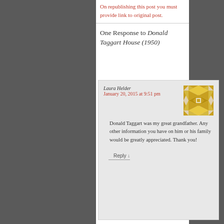On republishing this post you must provide link to original post.
One Response to Donald Taggart House (1950)
Laura Helder January 20, 2015 at 9:51 pm
Donald Taggart was my great grandfather. Any other information you have on him or his family would be greatly appreciated. Thank you!
Reply ↓